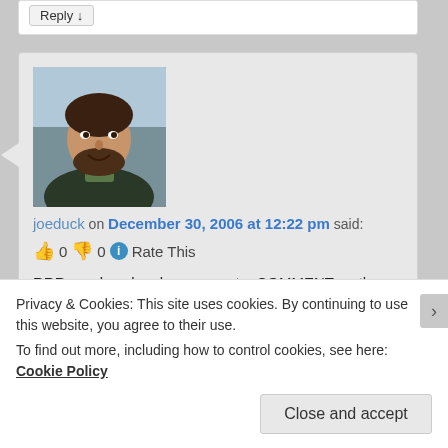Reply ↓
[Figure (photo): Profile photo of joeduck — man with beard and dark hair outdoors]
joeduck on December 30, 2006 at 12:22 pm said:
👍 0 👎 0 ℹ Rate This
RRR good work unless you put a COMMENT on the last page 🙂
Reply ↓
Privacy & Cookies: This site uses cookies. By continuing to use this website, you agree to their use.
To find out more, including how to control cookies, see here: Cookie Policy
Close and accept